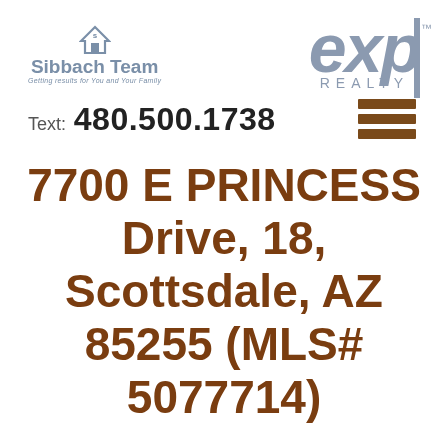[Figure (logo): Sibbach Team logo with house icon and tagline 'Getting results for You and Your Family']
[Figure (logo): eXp Realty logo in blue-grey]
Text: 480.500.1738
[Figure (other): Hamburger menu icon with three brown horizontal bars]
7700 E PRINCESS Drive, 18, Scottsdale, AZ 85255 (MLS# 5077714)